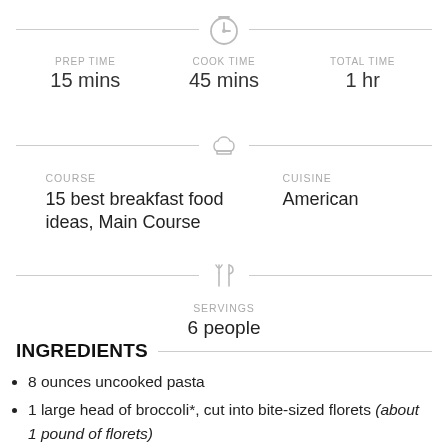PREP TIME: 15 mins | COOK TIME: 45 mins | TOTAL TIME: 1 hr
COURSE: 15 best breakfast food ideas, Main Course | CUISINE: American
SERVINGS: 6 people
INGREDIENTS
8 ounces uncooked pasta
1 large head of broccoli*, cut into bite-sized florets (about 1 pound of florets)